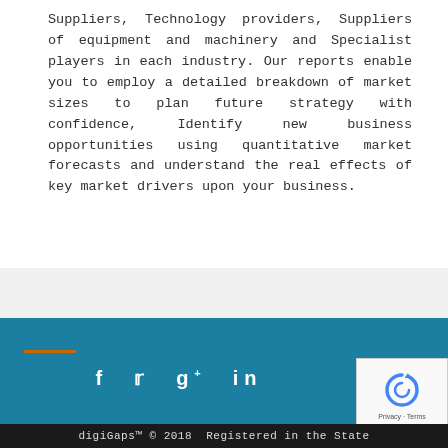Suppliers, Technology providers, Suppliers of equipment and machinery and Specialist players in each industry. Our reports enable you to employ a detailed breakdown of market sizes to plan future strategy with confidence, Identify new business opportunities using quantitative market forecasts and understand the real effects of key market drivers upon your business.
[Figure (other): Social media icons (Facebook, Twitter, Google+, LinkedIn) on teal background footer with reCAPTCHA widget]
digiGaps™ © 2018  Registered in the State